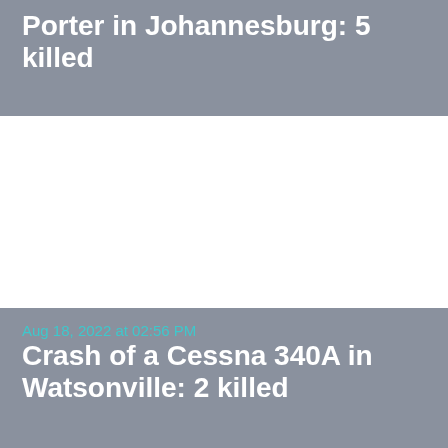Crash of a Pilatus PC-12/47 Turbo Porter in Johannesburg: 5 killed
Aug 18, 2022 at 02:56 PM
Crash of a Cessna 340A in Watsonville: 2 killed